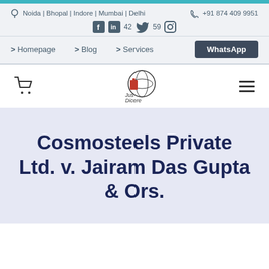Noida | Bhopal | Indore | Mumbai | Delhi    +91 874 409 9951
Social media icons: Facebook, LinkedIn, 42+59 followers, Twitter, Instagram
> Homepage  > Blog  > Services  [WhatsApp]
[Figure (logo): Jus Dicere logo with globe and red scale/book icon]
Cosmosteels Private Ltd. v. Jairam Das Gupta & Ors.